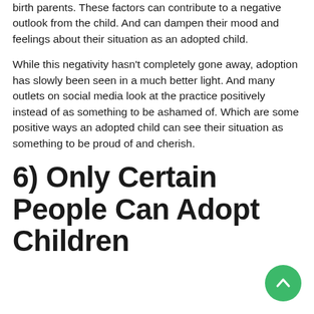birth parents. These factors can contribute to a negative outlook from the child. And can dampen their mood and feelings about their situation as an adopted child.
While this negativity hasn't completely gone away, adoption has slowly been seen in a much better light. And many outlets on social media look at the practice positively instead of as something to be ashamed of. Which are some positive ways an adopted child can see their situation as something to be proud of and cherish.
6) Only Certain People Can Adopt Children